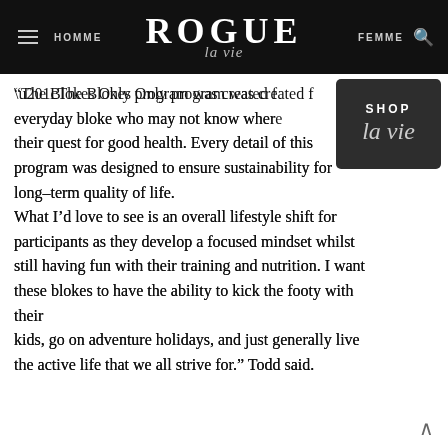HOMME | ROGUE la vie | FEMME
“The Blokes Only program was created for the everyday bloke who may not know where to start in their quest for good health. Every detail of this program was designed to ensure sustainability for long-term quality of life. What I’d love to see is an overall lifestyle shift for participants as they develop a focused mindset whilst still having fun with their training and nutrition. I want these blokes to have the ability to kick the footy with their kids, go on adventure holidays, and just generally live the active life that we all strive for.” Todd said.